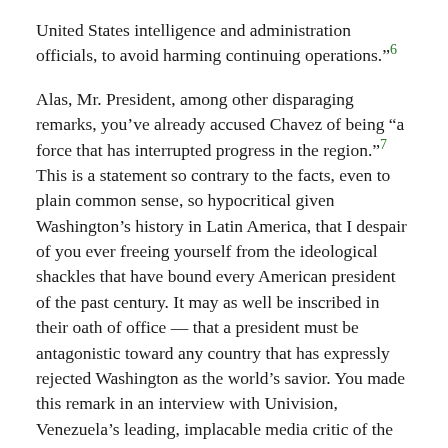United States intelligence and administration officials, to avoid harming continuing operations."6
Alas, Mr. President, among other disparaging remarks, you've already accused Chavez of being "a force that has interrupted progress in the region."7 This is a statement so contrary to the facts, even to plain common sense, so hypocritical given Washington's history in Latin America, that I despair of you ever freeing yourself from the ideological shackles that have bound every American president of the past century. It may as well be inscribed in their oath of office — that a president must be antagonistic toward any country that has expressly rejected Washington as the world's savior. You made this remark in an interview with Univision, Venezuela's leading, implacable media critic of the Chavez government. What regional progress could you be referring to, the police state of Colombia?